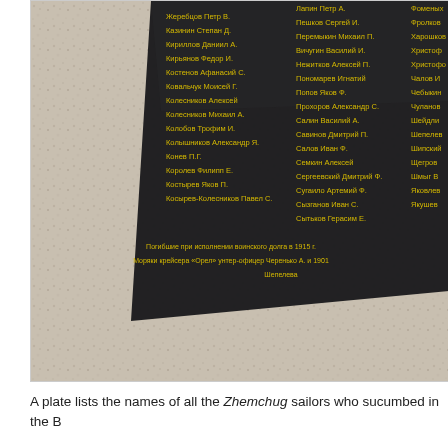[Figure (photo): A photograph of a dark stone memorial plaque with Russian text in gold/yellow letters listing the names of Zhemchug sailors who died. The plaque is set against a granite stone background. The names are arranged in columns. At the bottom of the plaque is an inscription about sailors who perished while performing service on the cruiser Orel, a petty officer Cherenko A., in 1915.]
A plate lists the names of all the Zhemchug sailors who sucumbed in the B...